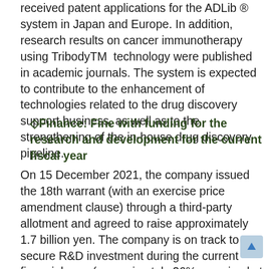received patent applications for the ADLib ® system in Japan and Europe. In addition, research results on cancer immunotherapy using TribodyTM technology were published in academic journals. The system is expected to contribute to the enhancement of technologies related to the drug discovery support business, as well as to the strengthening of the in-house drug discovery pipeline.
◇Finance: Fine with funding for the research and development for the current fiscal year
On 15 December 2021, the company issued the 18th warrant (with an exercise price amendment clause) through a third-party allotment and agreed to raise approximately 1.7 billion yen. The company is on track to secure R&D investment during the current financial year (approximately 26% exercised at the end of April). It plans to continue to invest in research and development without a slowdown. Depending on future trends in income and